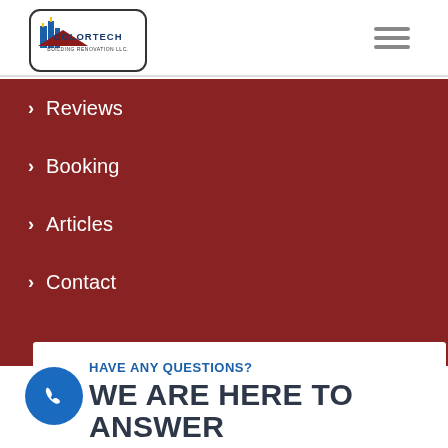[Figure (logo): Colortech Building Renovation LLC logo with blue city skyline and red roof]
Reviews
Booking
Articles
Contact
HAVE ANY QUESTIONS?
WE ARE HERE TO ANSWER